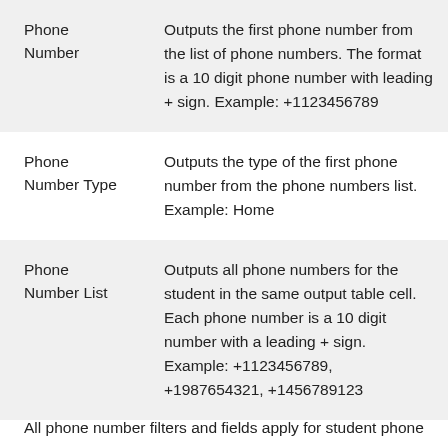|  |  |
| --- | --- |
| Phone Number | Outputs the first phone number from the list of phone numbers. The format is a 10 digit phone number with leading + sign. Example: +1123456789 |
| Phone Number Type | Outputs the type of the first phone number from the phone numbers list. Example: Home |
| Phone Number List | Outputs all phone numbers for the student in the same output table cell. Each phone number is a 10 digit number with a leading + sign. Example: +1123456789, +1987654321, +1456789123 |
All phone number filters and fields apply for student phone